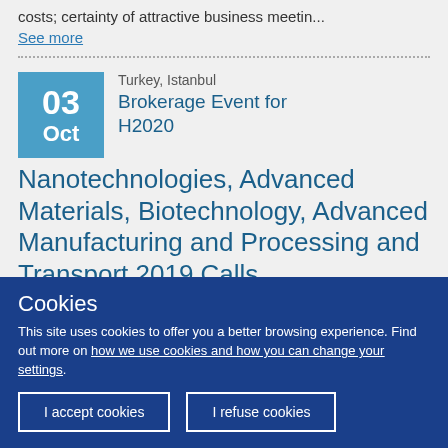costs; certainty of attractive business meetin...
See more
Turkey, Istanbul
Brokerage Event for H2020 Nanotechnologies, Advanced Materials, Biotechnology, Advanced Manufacturing and Processing and Transport 2019 Calls
Cookies
This site uses cookies to offer you a better browsing experience. Find out more on how we use cookies and how you can change your settings.
I accept cookies
I refuse cookies